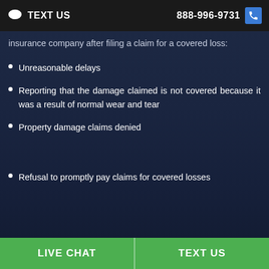TEXT US   888-996-9731
insurance company after filing a claim for a covered loss:
Unreasonable delays
Reporting that the damage claimed is not covered because it was a result of normal wear and tear
Property damage claims denied
Refusal to promptly pay claims for covered losses
LIVE CHAT   TEXT US